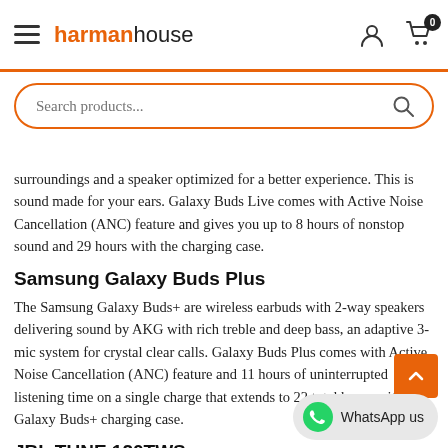harmanhouse
surroundings and a speaker optimized for a better experience. This is sound made for your ears. Galaxy Buds Live comes with Active Noise Cancellation (ANC) feature and gives you up to 8 hours of nonstop sound and 29 hours with the charging case.
Samsung Galaxy Buds Plus
The Samsung Galaxy Buds+ are wireless earbuds with 2-way speakers delivering sound by AKG with rich treble and deep bass, an adaptive 3-mic system for crystal clear calls. Galaxy Buds Plus comes with Active Noise Cancellation (ANC) feature and 11 hours of uninterrupted listening time on a single charge that extends to 22 total hours with the Galaxy Buds+ charging case.
JBL TUNE 120TWS